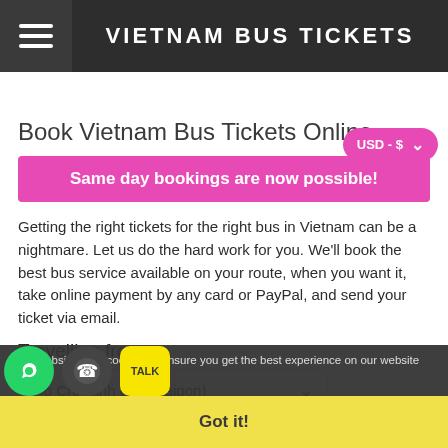VIETNAM BUS TICKETS
USD - $
Book Vietnam Bus Tickets Online
Same day bookings are now possible!
Getting the right tickets for the right bus in Vietnam can be a nightmare. Let us do the hard work for you. We'll book the best bus service available on your route, when you want it, take online payment by any card or PayPal, and send your ticket via email.
Travelling from:
Ho Chi Minh City (Saigon)
This website uses cookies to ensure you get the best experience on our website
Got it!